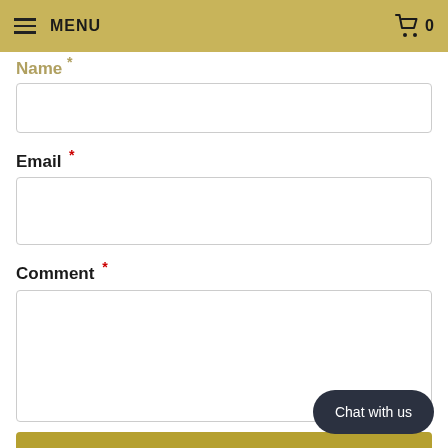MENU  0
Name *
Email *
Comment *
POST COMMENT
Chat with us